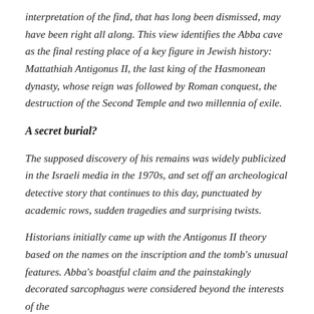interpretation of the find, that has long been dismissed, may have been right all along. This view identifies the Abba cave as the final resting place of a key figure in Jewish history: Mattathiah Antigonus II, the last king of the Hasmonean dynasty, whose reign was followed by Roman conquest, the destruction of the Second Temple and two millennia of exile.
A secret burial?
The supposed discovery of his remains was widely publicized in the Israeli media in the 1970s, and set off an archeological detective story that continues to this day, punctuated by academic rows, sudden tragedies and surprising twists.
Historians initially came up with the Antigonus II theory based on the names on the inscription and the tomb's unusual features. Abba's boastful claim and the painstakingly decorated sarcophagus were considered beyond the interests of the